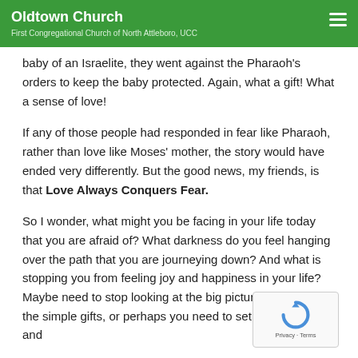Oldtown Church
First Congregational Church of North Attleboro, UCC
baby of an Israelite, they went against the Pharaoh's orders to keep the baby protected. Again, what a gift! What a sense of love!
If any of those people had responded in fear like Pharaoh, rather than love like Moses' mother, the story would have ended very differently. But the good news, my friends, is that Love Always Conquers Fear.
So I wonder, what might you be facing in your life today that you are afraid of? What darkness do you feel hanging over the path that you are journeying down? And what is stopping you from feeling joy and happiness in your life? Maybe need to stop looking at the big picture and look for the simple gifts, or perhaps you need to set your fear aside and